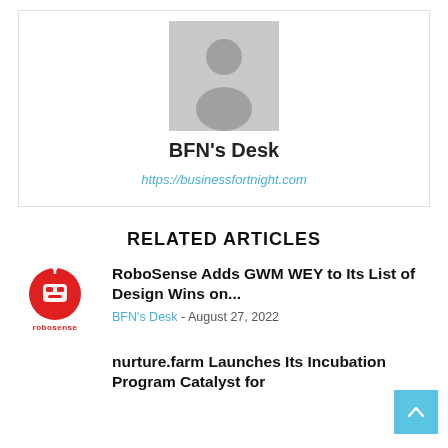[Figure (illustration): Grey avatar/profile placeholder image showing a generic person silhouette]
BFN's Desk
https://businessfortnight.com
RELATED ARTICLES
[Figure (logo): RoboSense logo: red circle with a robot/camera icon and 'robosense' text below]
RoboSense Adds GWM WEY to Its List of Design Wins on...
BFN's Desk - August 27, 2022
nurture.farm Launches Its Incubation Program Catalyst for